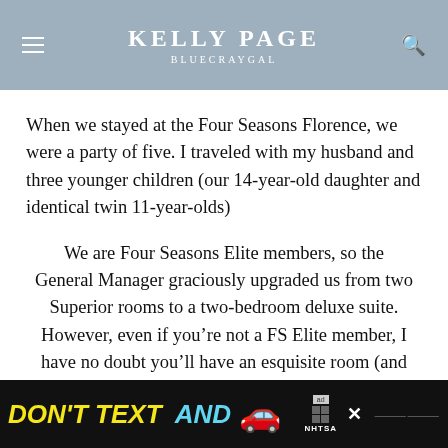Kelly Page | BlueCrayGal
When we stayed at the Four Seasons Florence, we were a party of five. I traveled with my husband and three younger children (our 14-year-old daughter and identical twin 11-year-olds)
We are Four Seasons Elite members, so the General Manager graciously upgraded us from two Superior rooms to a two-bedroom deluxe suite. However, even if you’re not a FS Elite member, I have no doubt you’ll have an esquisite room (and experience the same level of service.)
[Figure (infographic): Advertisement banner: DON'T TEXT AND [car emoji] with NHTSA logo and ad badge]